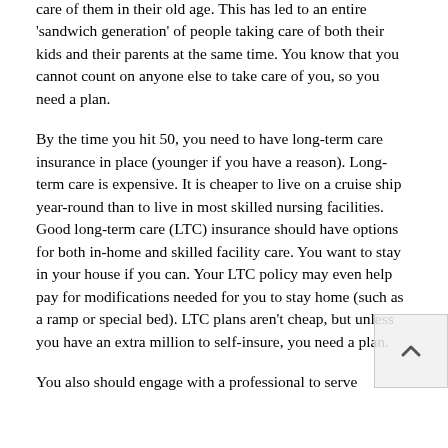care of them in their old age. This has led to an entire 'sandwich generation' of people taking care of both their kids and their parents at the same time. You know that you cannot count on anyone else to take care of you, so you need a plan.
By the time you hit 50, you need to have long-term care insurance in place (younger if you have a reason). Long-term care is expensive. It is cheaper to live on a cruise ship year-round than to live in most skilled nursing facilities. Good long-term care (LTC) insurance should have options for both in-home and skilled facility care. You want to stay in your house if you can. Your LTC policy may even help pay for modifications needed for you to stay home (such as a ramp or special bed). LTC plans aren't cheap, but unless you have an extra million to self-insure, you need a plan.
You also should engage with a professional to serve